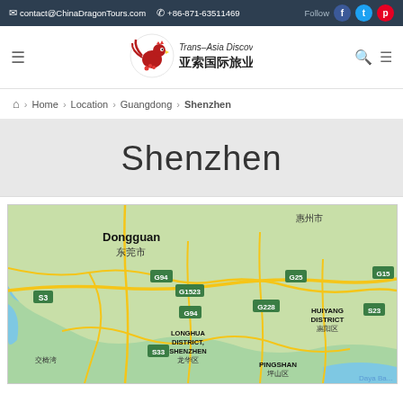contact@ChinaDragonTours.com  +86-871-63511469  Follow
[Figure (logo): Trans-Asia Discovery / 亚索国际旅业 logo with rooster icon]
Home > Location > Guangdong > Shenzhen
Shenzhen
[Figure (map): Google Maps view showing Shenzhen and surrounding area including Dongguan/东莞市, Longhua District/龙华区, Huiyang District/惠阳区, Pingshan/坪山区, with highway labels S3, G15, G94, G1523, G25, G228, S23, S33]